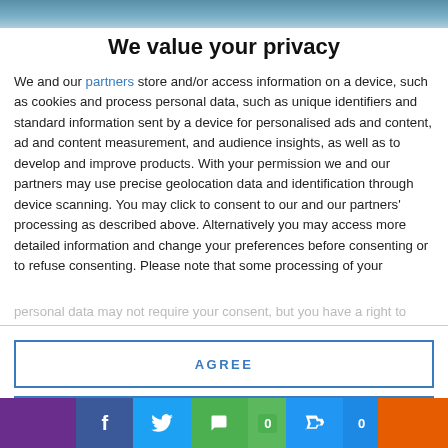[Figure (photo): Top banner image, blurred/cropped photo background in blue tones]
We value your privacy
We and our partners store and/or access information on a device, such as cookies and process personal data, such as unique identifiers and standard information sent by a device for personalised ads and content, ad and content measurement, and audience insights, as well as to develop and improve products. With your permission we and our partners may use precise geolocation data and identification through device scanning. You may click to consent to our and our partners' processing as described above. Alternatively you may access more detailed information and change your preferences before consenting or to refuse consenting. Please note that some processing of your personal data may not require your consent, but you have a right to
AGREE
MORE OPTIONS
[Figure (infographic): Social sharing bar with icons: purple blank, Facebook (blue), Twitter (blue), comment/chat (green) with 0 badge, thumbs up (blue) with 0 badge, orange segment]